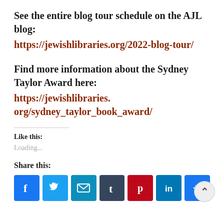See the entire blog tour schedule on the AJL blog: https://jewishlibraries.org/2022-blog-tour/
Find more information about the Sydney Taylor Award here: https://jewishlibraries.org/sydney_taylor_book_award/
Like this:
Loading...
Share this: